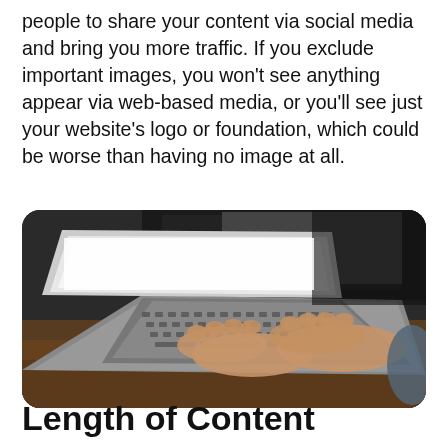people to share your content via social media and bring you more traffic. If you exclude important images, you won't see anything appear via web-based media, or you'll see just your website's logo or foundation, which could be worse than having no image at all.
[Figure (photo): Person typing on a laptop keyboard, with a monitor visible in the background. Close-up shot of hands on a MacBook keyboard.]
Length of Content